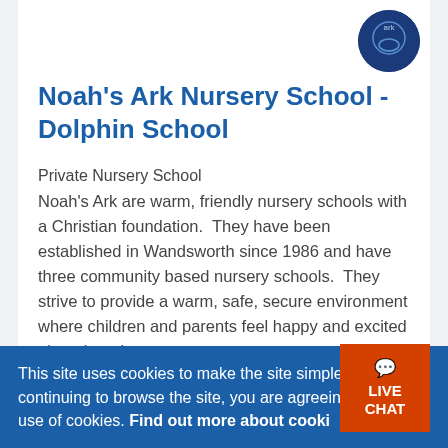[Figure (logo): Noah's Ark Nursery School circular logo in dark blue]
Noah's Ark Nursery School - Dolphin School
Private Nursery School
Noah's Ark are warm, friendly nursery schools with a Christian foundation.  They have been established in Wandsworth since 1986 and have three community based nursery schools.  They strive to provide a warm, safe, secure environment where children and parents feel happy and excited about learning...
+ Add to Shortlist
This site uses cookies to make the site simpler. By continuing to browse the site, you are agreeing to our use of cookies. Find out more about cookies